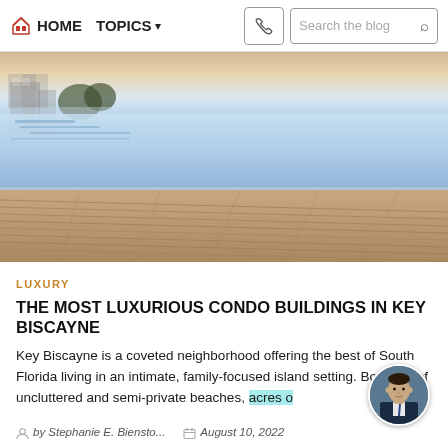HOME  TOPICS  Search the blog
[Figure (photo): Aerial/poolside view of a luxury infinity pool with wooden deck, overlooking water/ocean at dusk.]
LUXURY
THE MOST LUXURIOUS CONDO BUILDINGS IN KEY BISCAYNE
Key Biscayne is a coveted neighborhood offering the best of South Florida living in an intimate, family-focused island setting. Boasting of uncluttered and semi-private beaches, acres o
by Stephanie E. Biensto...  August 10, 2022